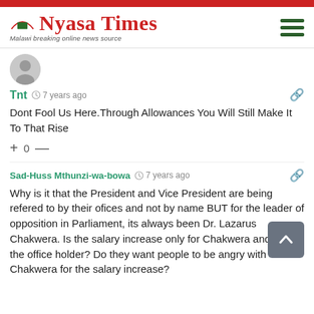Nyasa Times — Malawi breaking online news source
Tnt  7 years ago
Dont Fool Us Here.Through Allowances You Will Still Make It To That Rise
+ 0 —
Sad-Huss Mthunzi-wa-bowa  7 years ago
Why is it that the President and Vice President are being refered to by their ofices and not by name BUT for the leader of opposition in Parliament, its always been Dr. Lazarus Chakwera. Is the salary increase only for Chakwera and not for the office holder? Do they want people to be angry with Chakwera for the salary increase?